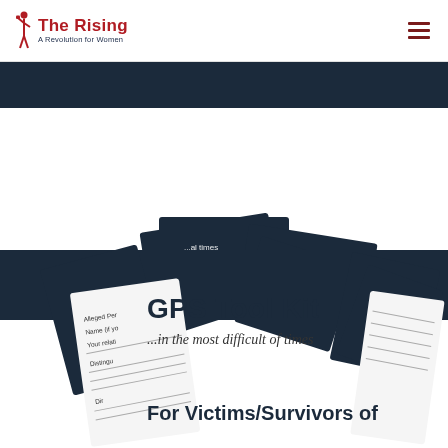The Rising – A Revolution for Women (logo and navigation header)
[Figure (illustration): Stack of dark navy blue document cards/forms fanned out showing partial text including 'times', 'Alleged Per', 'Name (if yo', 'Your relati', 'Distingu', 'Dir'. In the center area overlaid on the documents are the words 'GPS Tool Kit' and '...in the most difficult of times' and 'For Victims/Survivors of'.]
GPS Tool Kit
...in the most difficult of times
For Victims/Survivors of